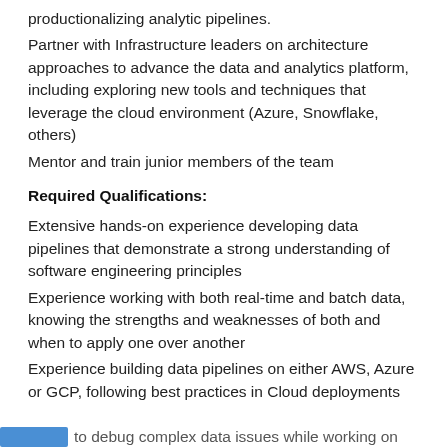productionalizing analytic pipelines.
Partner with Infrastructure leaders on architecture approaches to advance the data and analytics platform, including exploring new tools and techniques that leverage the cloud environment (Azure, Snowflake, others)
Mentor and train junior members of the team
Required Qualifications:
Extensive hands-on experience developing data pipelines that demonstrate a strong understanding of software engineering principles
Experience working with both real-time and batch data, knowing the strengths and weaknesses of both and when to apply one over another
Experience building data pipelines on either AWS, Azure or GCP, following best practices in Cloud deployments
to debug complex data issues while working on